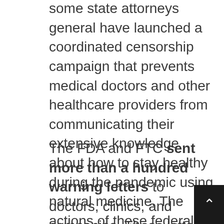some state attorneys general have launched a coordinated censorship campaign that prevents medical doctors and other healthcare providers from communicating their extensive knowledge about how to stay healthy during the pandemic using natural medicine. The actions of these federal agencies will lead to more COVID-19 infections and death. We have to fight back to preserve our right to stay healthy, naturally.
The FDA and FTC sent more than a hundred warning letters to doctors, clinics, and companies. These letters all allege that companies or individuals were 1) illegally advertising that certain products treat or prevent Coronavirus Disease 2019 (COVID-19) or related conditions, such as inflammation